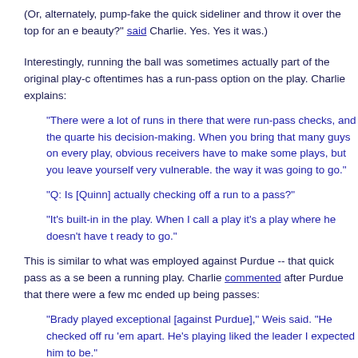(Or, alternately, pump-fake the quick sideliner and throw it over the top for an e beauty?" said Charlie. Yes. Yes it was.)
Interestingly, running the ball was sometimes actually part of the original play-c oftentimes has a run-pass option on the play. Charlie explains:
"There were a lot of runs in there that were run-pass checks, and the quarte his decision-making. When you bring that many guys on every play, obvious receivers have to make some plays, but you leave yourself very vulnerable. the way it was going to go."
"Q: Is [Quinn] actually checking off a run to a pass?"
"It's built-in in the play. When I call a play it's a play where he doesn't have t ready to go."
This is similar to what was employed against Purdue -- that quick pass as a se been a running play. Charlie commented after Purdue that there were a few mc ended up being passes:
"Brady played exceptional [against Purdue]," Weis said. "He checked off ru 'em apart. He's playing liked the leader I expected him to be."
So, you must remember this...a pass is just a pass. Except when it isn't.
Anyway, how did all that passing -- I mean running --